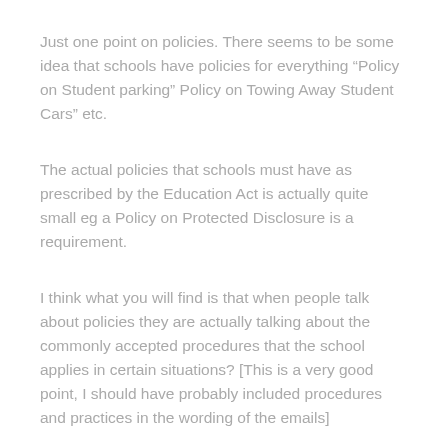Just one point on policies. There seems to be some idea that schools have policies for everything “Policy on Student parking” Policy on Towing Away Student Cars” etc.
The actual policies that schools must have as prescribed by the Education Act is actually quite small eg a Policy on Protected Disclosure is a requirement.
I think what you will find is that when people talk about policies they are actually talking about the commonly accepted procedures that the school applies in certain situations? [This is a very good point, I should have probably included procedures and practices in the wording of the emails]